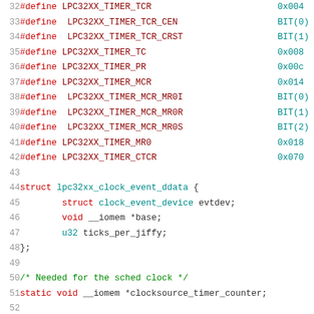[Figure (screenshot): Source code listing (C language) showing preprocessor #define macros for LPC32XX timer registers and a struct definition for lpc32xx_clock_event_ddata, plus a comment and static variable declaration. Lines 32-52.]